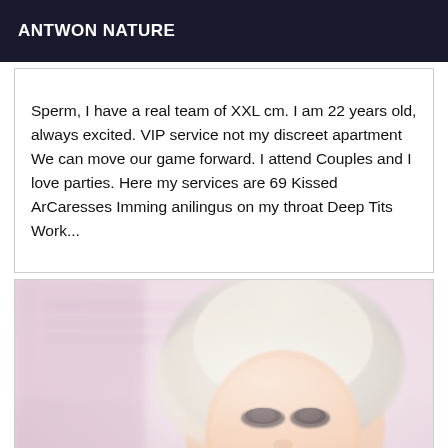ANTWON NATURE
Sperm, I have a real team of XXL cm. I am 22 years old, always excited. VIP service not my discreet apartment We can move our game forward. I attend Couples and I love parties. Here my services are 69 Kissed ArCaresses Imming anilingus on my throat Deep Tits Work...
[Figure (photo): Close-up photo of a blonde woman with short hair and dramatic eye makeup, in a soft-focus indoor setting with a pink/light background.]